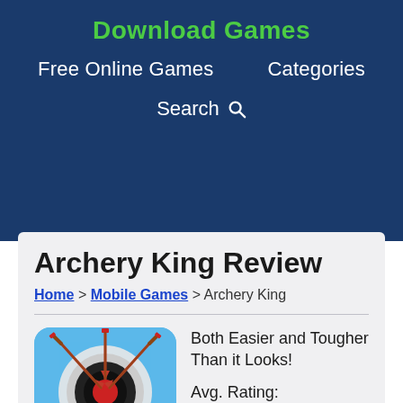Download Games
Free Online Games    Categories
Search
Archery King Review
Home > Mobile Games > Archery King
[Figure (photo): Archery King game icon showing arrows in a target on a blue sky background]
Both Easier and Tougher Than it Looks!
Avg. Rating: